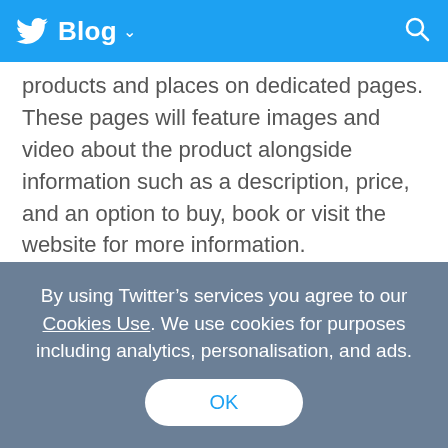Blog
products and places on dedicated pages. These pages will feature images and video about the product alongside information such as a description, price, and an option to buy, book or visit the website for more information.
Take for example the book “The Martian” by @andyweirauthor. We’ll show you images and a description right above the Tweets that are most timely and relevant to you. These may be Tweets from accounts you follow, relevant news updates
By using Twitter’s services you agree to our Cookies Use. We use cookies for purposes including analytics, personalisation, and ads.